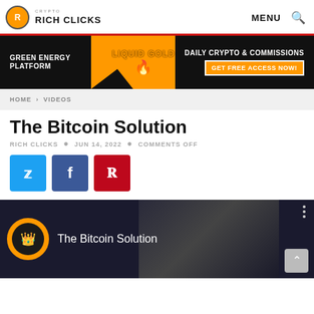RICH CLICKS | MENU
[Figure (infographic): Banner ad: GREEN ENERGY PLATFORM | LIQUID GOLD | DAILY CRYPTO & COMMISSIONS — GET FREE ACCESS NOW!]
HOME > VIDEOS
The Bitcoin Solution
RICH CLICKS • JUN 14, 2022 • COMMENTS OFF
[Figure (infographic): Social share buttons: Twitter (blue), Facebook (dark blue), Pinterest (red)]
[Figure (screenshot): Video thumbnail showing The Bitcoin Solution with logo circle and person giving thumbs up in dark background]